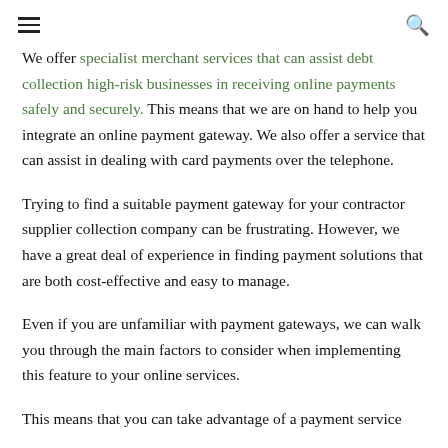≡  🔍
We offer specialist merchant services that can assist debt collection high-risk businesses in receiving online payments safely and securely. This means that we are on hand to help you integrate an online payment gateway. We also offer a service that can assist in dealing with card payments over the telephone.
Trying to find a suitable payment gateway for your contractor supplier collection company can be frustrating. However, we have a great deal of experience in finding payment solutions that are both cost-effective and easy to manage.
Even if you are unfamiliar with payment gateways, we can walk you through the main factors to consider when implementing this feature to your online services.
This means that you can take advantage of a payment service that…